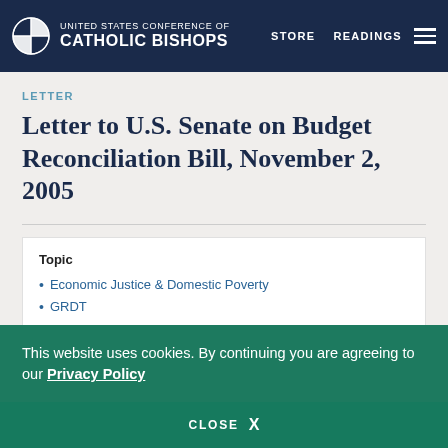UNITED STATES CONFERENCE OF CATHOLIC BISHOPS | STORE | READINGS
LETTER
Letter to U.S. Senate on Budget Reconciliation Bill, November 2, 2005
Topic
Economic Justice & Domestic Poverty
GRDT
This website uses cookies. By continuing you are agreeing to our Privacy Policy
CLOSE X